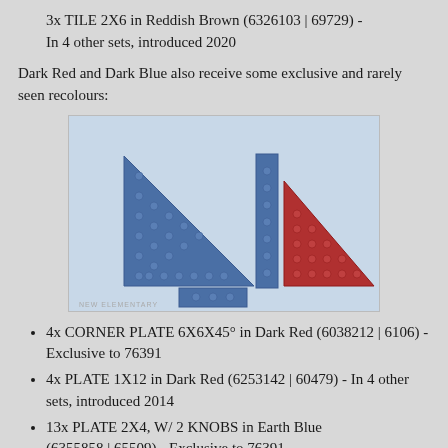3x TILE 2X6 in Reddish Brown (6326103 | 69729) - In 4 other sets, introduced 2020
Dark Red and Dark Blue also receive some exclusive and rarely seen recolours:
[Figure (photo): Photo of LEGO pieces: two dark blue corner plates, one dark blue small plate, and one dark red corner plate, arranged on a light blue background. Watermark reads NEW ELEMENTARY.]
4x CORNER PLATE 6X6X45° in Dark Red (6038212 | 6106) - Exclusive to 76391
4x PLATE 1X12 in Dark Red (6253142 | 60479) - In 4 other sets, introduced 2014
13x PLATE 2X4, W/ 2 KNOBS in Earth Blue (6355858 | 65509) - Exclusive to 76391